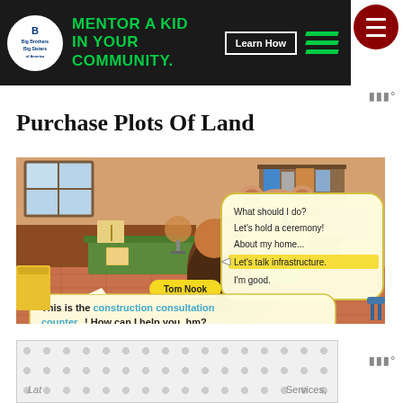[Figure (screenshot): Advertisement banner: Big Brothers Big Sisters - Mentor a Kid in Your Community. Learn How button. Green diagonal stripes on dark background.]
Purchase Plots Of Land
[Figure (screenshot): Animal Crossing: New Horizons gameplay screenshot showing Tom Nook behind a desk. Dialog options: 'What should I do?', 'Let's hold a ceremony!', 'About my home...', 'Let's talk infrastructure.' (highlighted), 'I'm good.' Tom Nook says: 'This is the construction consultation counter! How can I help you, hm?']
[Figure (screenshot): Bottom advertisement with dot pattern background. Partially visible text on left ('Lat') and right ('Services,').]